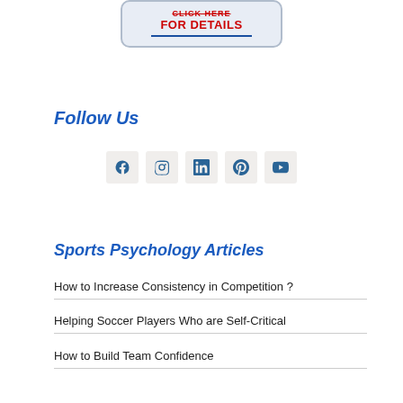[Figure (illustration): A button/banner with red text reading 'CLICK HERE FOR DETAILS' on a light blue-grey rounded rectangle background with a blue underline]
Follow Us
[Figure (infographic): Row of five social media icon buttons: Facebook, Instagram, LinkedIn, Pinterest, YouTube — each in a light beige square tile]
Sports Psychology Articles
How to Increase Consistency in Competition ?
Helping Soccer Players Who are Self-Critical
How to Build Team Confidence